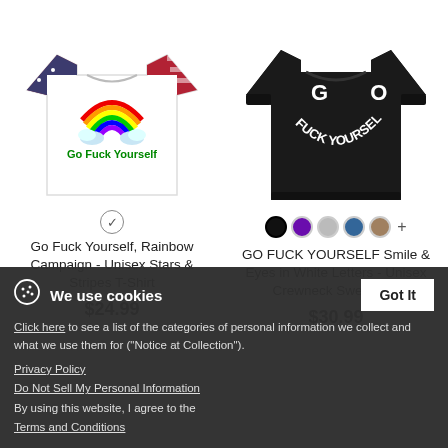[Figure (photo): T-shirt with rainbow, stars and stripes sleeves, green text 'Go Fuck Yourself']
Go Fuck Yourself, Rainbow Campaign - Unisex Stars & Stripes T-Shirt
$24.99
[Figure (photo): Black crewneck sweatshirt with 'GO FUCK YOURSELF' in white letters arranged in a smile/eyes pattern]
GO FUCK YOURSELF Smile & Eyes in White Letters - Unisex Crewneck Sweatshirt
$30.99
We use cookies
Click here to see a list of the categories of personal information we collect and what we use them for ("Notice at Collection").
Privacy Policy
Do Not Sell My Personal Information
By using this website, I agree to the Terms and Conditions